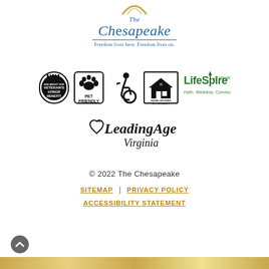[Figure (logo): The Chesapeake logo with ring/arc at top, blue serif text 'The Chesapeake' and tagline 'Freedom lives here. Freedom lives on.' with horizontal rule]
[Figure (logo): Row of logos/badges: Veteran's Honor Benefit badge, Pet Friendly badge, Wheelchair accessibility symbol, Equal Housing Opportunity logo, LifeSpire of Virginia logo (Faith. Wellness. Community.)]
[Figure (logo): LeadingAge Virginia logo in script/serif font]
© 2022 The Chesapeake
SITEMAP | PRIVACY POLICY
ACCESSIBILITY STATEMENT